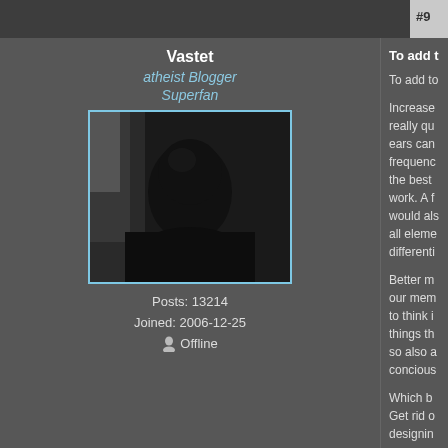#9
Vastet
atheist Blogger Superfan
[Figure (photo): User avatar photo showing a person with dark short hair in low light, facing slightly down, dark background]
Posts: 13214
Joined: 2006-12-25
Offline
To add t
To add to
Increase really qu ears can frequenc the best work. A f would als all eleme differenti
Better m our mem to think i things th so also a concious
Which b Get rid o designin
Get rid o different complete
Improve